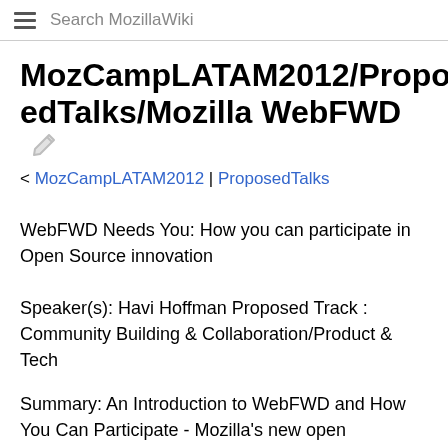Search MozillaWiki
MozCampLATAM2012/ProposedTalks/Mozilla WebFWD
< MozCampLATAM2012 | ProposedTalks
WebFWD Needs You: How you can participate in Open Source innovation
Speaker(s): Havi Hoffman Proposed Track : Community Building & Collaboration/Product & Tech
Summary: An Introduction to WebFWD and How You Can Participate - Mozilla's new open innovation program seeks entrepreneurial Open Source projects aligned with our